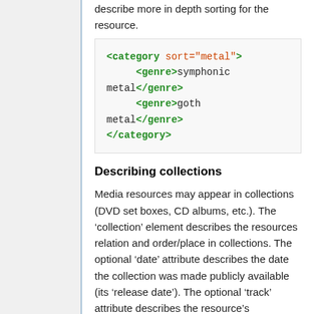describe more in depth sorting for the resource.
[Figure (screenshot): XML code block showing category element with sort attribute set to 'metal' containing two genre elements: 'symphonic metal' and 'goth metal', followed by closing category tag.]
Describing collections
Media resources may appear in collections (DVD set boxes, CD albums, etc.). The ‘collection’ element describes the resources relation and order/place in collections. The optional ‘date’ attribute describes the date the collection was made publicly available (its ‘release date’). The optional ‘track’ attribute describes the resource’s order/place in the collection. The optional ‘tracks’